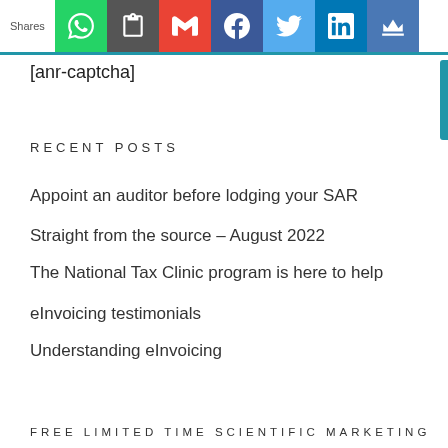Shares | WhatsApp | Clipboard | Gmail | Facebook | Twitter | LinkedIn | Crown
[anr-captcha]
RECENT POSTS
Appoint an auditor before lodging your SAR
Straight from the source – August 2022
The National Tax Clinic program is here to help
eInvoicing testimonials
Understanding eInvoicing
FREE LIMITED TIME SCIENTIFIC MARKETING